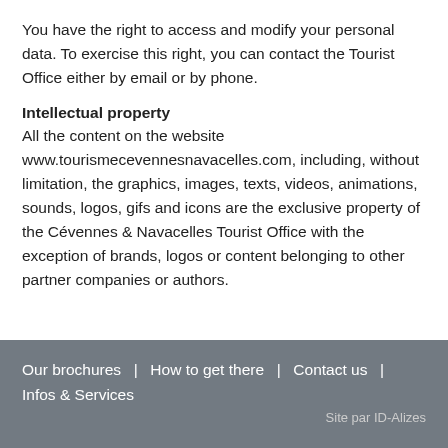You have the right to access and modify your personal data. To exercise this right, you can contact the Tourist Office either by email or by phone.
Intellectual property
All the content on the website www.tourismecevennesnavacelles.com, including, without limitation, the graphics, images, texts, videos, animations, sounds, logos, gifs and icons are the exclusive property of the Cévennes & Navacelles Tourist Office with the exception of brands, logos or content belonging to other partner companies or authors.
Our brochures  |  How to get there  |  Contact us  |  Infos & Services
Site par ID-Alizes